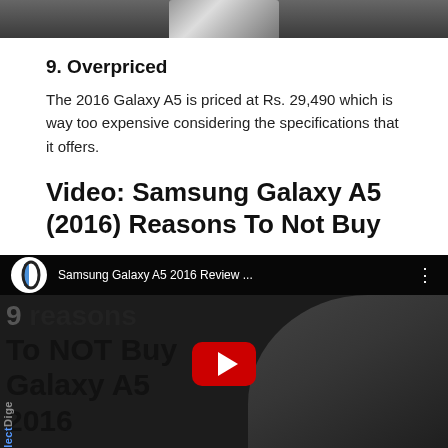[Figure (photo): Top portion of a smartphone (Samsung Galaxy A5) against dark background]
9. Overpriced
The 2016 Galaxy A5 is priced at Rs. 29,490 which is way too expensive considering the specifications that it offers.
Video: Samsung Galaxy A5 (2016) Reasons To Not Buy
[Figure (screenshot): YouTube video thumbnail showing Samsung Galaxy A5 2016 Review - 9 Reasons To NOT Buy Galaxy A5 2016, with woman presenter and large bold text overlay]